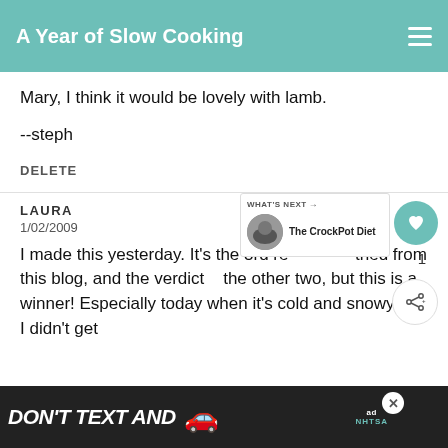A Year of Slow Cooking
Mary, I think it would be lovely with lamb.
--steph
DELETE
LAURA
1/02/2009
I made this yesterday. It's the 3rd recipe I've tried from this blog, and the verdict... the other two, but this is a winner! Especially today when it's cold and snowy out. I didn't get
[Figure (screenshot): Ad banner at bottom: DON'T TEXT AND with car emoji and NHTSA logo]
[Figure (infographic): WHAT'S NEXT arrow box with The CrockPot Diet text and image]